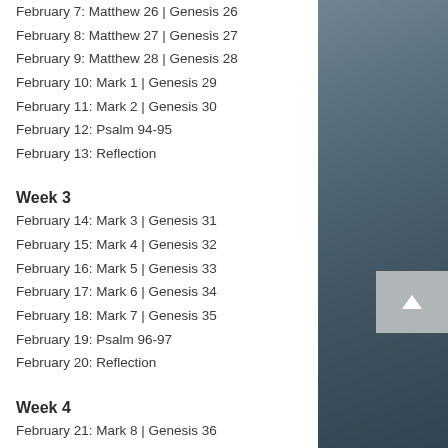February 7: Matthew 26  |  Genesis 26
February 8: Matthew 27  |  Genesis 27
February 9: Matthew 28  |  Genesis 28
February 10: Mark 1  |  Genesis 29
February 11: Mark 2  |  Genesis 30
February 12: Psalm 94-95
February 13: Reflection
Week 3
February 14: Mark 3  |  Genesis 31
February 15: Mark 4  |  Genesis 32
February 16: Mark 5  |  Genesis 33
February 17: Mark 6  |  Genesis 34
February 18: Mark 7  |  Genesis 35
February 19: Psalm 96-97
February 20: Reflection
Week 4
February 21: Mark 8  |  Genesis 36